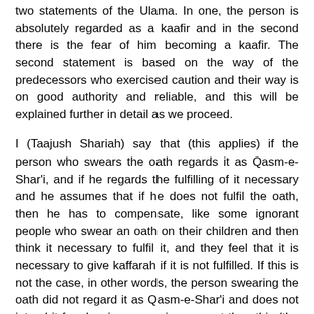two statements of the Ulama. In one, the person is absolutely regarded as a kaafir and in the second there is the fear of him becoming a kaafir. The second statement is based on the way of the predecessors who exercised caution and their way is on good authority and reliable, and this will be explained further in detail as we proceed.
I (Taajush Shariah) say that (this applies) if the person who swears the oath regards it as Qasm-e-Shar'i, and if he regards the fulfilling of it necessary and he assumes that if he does not fulfil the oath, then he has to compensate, like some ignorant people who swear an oath on their children and then think it necessary to fulfil it, and they feel that it is necessary to give kaffarah if it is not fulfilled. If this is not the case, in other words, the person swearing the oath did not regard it as Qasm-e-Shar'i and does not intend it for showing excessive respect then this (the above rule) is not applicable to him.